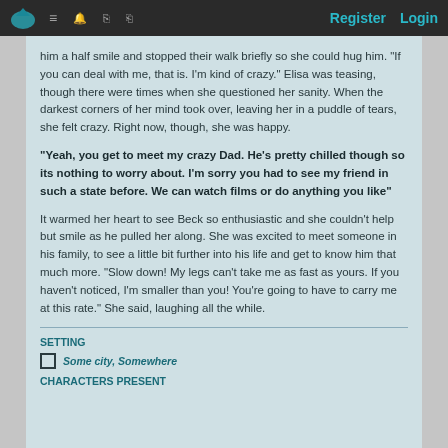Register  Login
him a half smile and stopped their walk briefly so she could hug him. "If you can deal with me, that is. I'm kind of crazy." Elisa was teasing, though there were times when she questioned her sanity. When the darkest corners of her mind took over, leaving her in a puddle of tears, she felt crazy. Right now, though, she was happy.
"Yeah, you get to meet my crazy Dad. He's pretty chilled though so its nothing to worry about. I'm sorry you had to see my friend in such a state before. We can watch films or do anything you like"
It warmed her heart to see Beck so enthusiastic and she couldn't help but smile as he pulled her along. She was excited to meet someone in his family, to see a little bit further into his life and get to know him that much more. "Slow down! My legs can't take me as fast as yours. If you haven't noticed, I'm smaller than you! You're going to have to carry me at this rate." She said, laughing all the while.
SETTING
Some city, Somewhere
CHARACTERS PRESENT